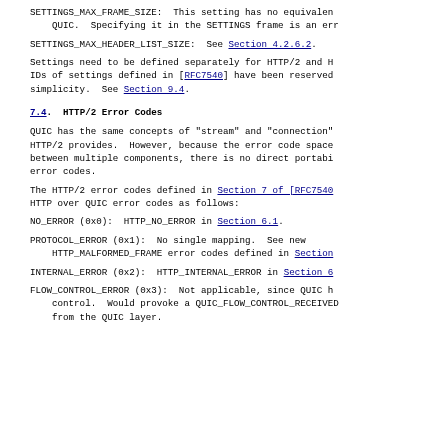SETTINGS_MAX_FRAME_SIZE:  This setting has no equivalen
    QUIC.  Specifying it in the SETTINGS frame is an err
SETTINGS_MAX_HEADER_LIST_SIZE:  See Section 4.2.6.2.
Settings need to be defined separately for HTTP/2 and H
IDs of settings defined in [RFC7540] have been reserved
simplicity.  See Section 9.4.
7.4.  HTTP/2 Error Codes
QUIC has the same concepts of "stream" and "connection"
HTTP/2 provides.  However, because the error code space
between multiple components, there is no direct portabi
error codes.
The HTTP/2 error codes defined in Section 7 of [RFC7540
HTTP over QUIC error codes as follows:
NO_ERROR (0x0):  HTTP_NO_ERROR in Section 6.1.
PROTOCOL_ERROR (0x1):  No single mapping.  See new
    HTTP_MALFORMED_FRAME error codes defined in Section
INTERNAL_ERROR (0x2):  HTTP_INTERNAL_ERROR in Section 6
FLOW_CONTROL_ERROR (0x3):  Not applicable, since QUIC h
    control.  Would provoke a QUIC_FLOW_CONTROL_RECEIVED
    from the QUIC layer.